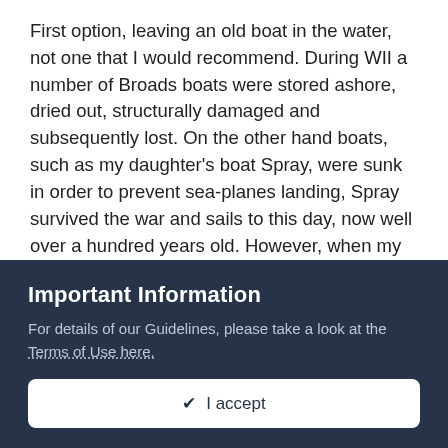First option, leaving an old boat in the water, not one that I would recommend. During WII a number of Broads boats were stored ashore, dried out, structurally damaged and subsequently lost. On the other hand boats, such as my daughter's boat Spray, were sunk in order to prevent sea-planes landing, Spray survived the war and sails to this day, now well over a hundred years old. However, when my Hannah bought her she had been stored afloat for several years and gone soft. We had to replace all her ribs and floors, When we relaunched her she floated several inches higher! All about finding a happy medium, too much soaking results in a boat going soft. Too much wind results in a boat drying out excessively. There is a sweet little sailing cruiser ashore at Outlon Broad after several years afloat when she really suffered, not something that I want for Brilliant or Spray. Frost is another enemy of wooden boats, topside and cockpit varnish
Important Information
For details of our Guidelines, please take a look at the Terms of Use here.
✔ I accept